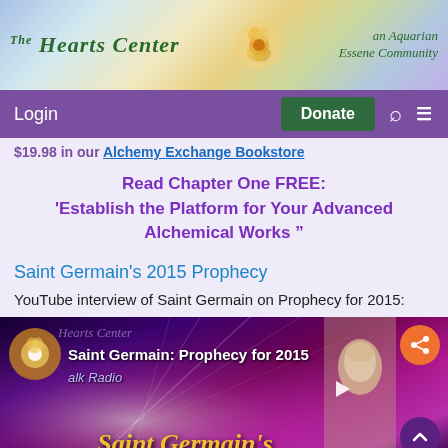[Figure (logo): The Hearts Center - an Aquarian Essene Community banner with gradient rainbow background, rose icon, and green italic text]
Login   Donate   [search] [menu]
$19.98 in our Alchemy Exchange Bookstore
Read Chapter One FREE: 'Establish the Platform for Your Advanced Alchemical Works”
Saint Germain's 2015 Prophecy
YouTube interview of Saint Germain on Prophecy for 2015:
[Figure (screenshot): Video thumbnail showing Saint Germain: Prophecy for 2015, Hearts Center Talk Radio, with purple/magenta light rays background and partial portrait, share button, scroll button]